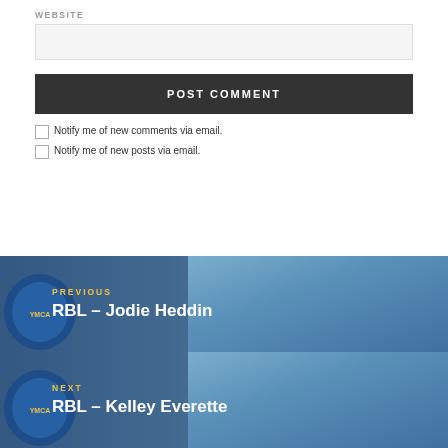WEBSITE
POST COMMENT
Notify me of new comments via email.
Notify me of new posts via email.
PREVIOUS
RBL – Jodie Heddin
NEXT
RBL – Kelley Everette